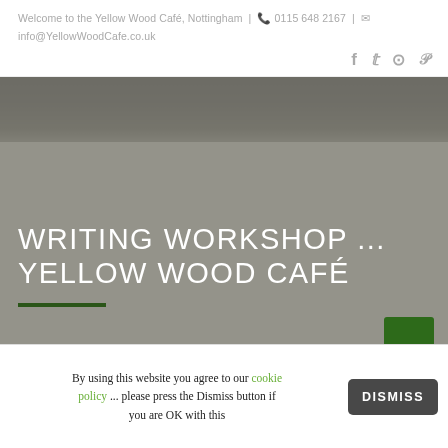Welcome to the Yellow Wood Café, Nottingham | 0115 648 2167 | info@YellowWoodCafe.co.uk
[Figure (screenshot): Website screenshot showing hero image of Yellow Wood Café with dark photo at top fading into grey overlay, large white text reading WRITING WORKSHOP ... YELLOW WOOD CAFÉ with a dark green underline, and a partial green button at bottom right]
WRITING WORKSHOP ... YELLOW WOOD CAFÉ
By using this website you agree to our cookie policy ... please press the Dismiss button if you are OK with this